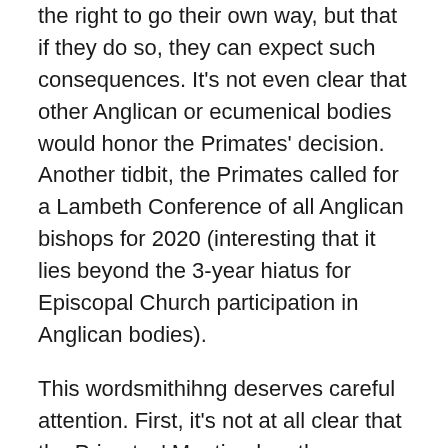the right to go their own way, but that if they do so, they can expect such consequences. It's not even clear that other Anglican or ecumenical bodies would honor the Primates' decision. Another tidbit, the Primates called for a Lambeth Conference of all Anglican bishops for 2020 (interesting that it lies beyond the 3-year hiatus for Episcopal Church participation in Anglican bodies).
This wordsmithihng deserves careful attention. First, it's not at all clear that the Primates' Meeting has the authority to make such a demand of the Episcopal Church. Second, Welby's efforts to distinguish between “sanction” and “consequence” seem rather lame.
There’s been a great deal of discussion on social media about how the Episcopal Church ought to respond.
“We enjoy a fellowship and communion in Christ that is